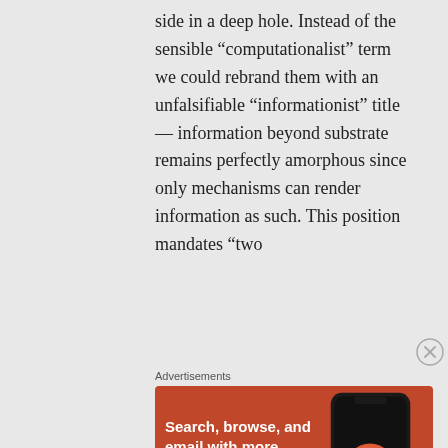side in a deep hole. Instead of the sensible “computationalist” term we could rebrand them with an unfalsifiable “informationist” title — information beyond substrate remains perfectly amorphous since only mechanisms can render information as such. This position mandates “two
Advertisements
[Figure (other): DuckDuckGo advertisement banner with orange background showing 'Search, browse, and email with more privacy. All in One Free App' with a phone showing the DuckDuckGo app.]